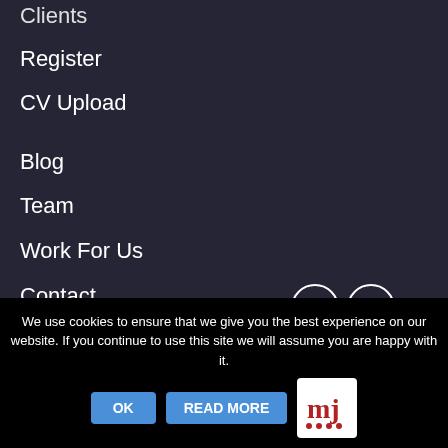Clients
Register
CV Upload
Blog
Team
Work For Us
Contact
Refer A Friend
Construction
Engineering
Technology
We use cookies to ensure that we give you the best experience on our website. If you continue to use this site we will assume you are happy with it.
OK
READ MORE